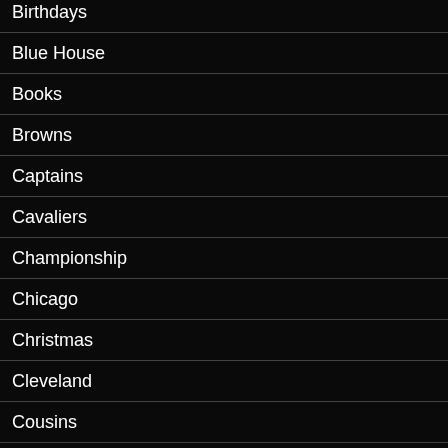Birthdays
Blue House
Books
Browns
Captains
Cavaliers
Championship
Chicago
Christmas
Cleveland
Cousins
Creations